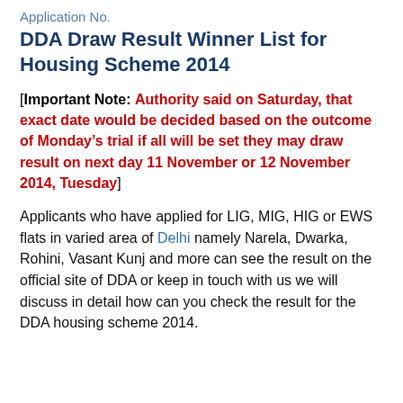Application No.
DDA Draw Result Winner List for Housing Scheme 2014
[Important Note: Authority said on Saturday, that exact date would be decided based on the outcome of Monday’s trial if all will be set they may draw result on next day 11 November or 12 November 2014, Tuesday]
Applicants who have applied for LIG, MIG, HIG or EWS flats in varied area of Delhi namely Narela, Dwarka, Rohini, Vasant Kunj and more can see the result on the official site of DDA or keep in touch with us we will discuss in detail how can you check the result for the DDA housing scheme 2014.